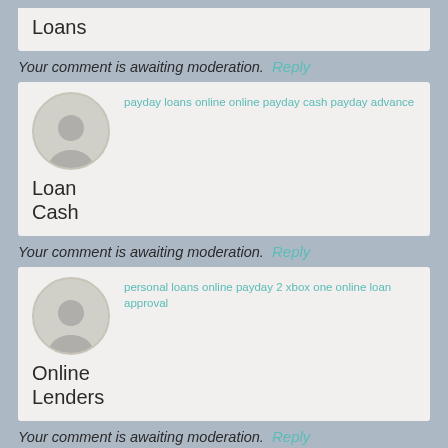Loans
Your comment is awaiting moderation. Reply
payday loans online online payday cash payday advance
Loan Cash
Your comment is awaiting moderation. Reply
personal loans online payday 2 xbox one online loan approval
Online Lenders
Your comment is awaiting moderation. Reply